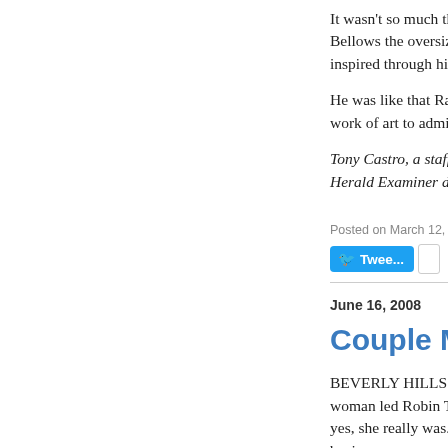It wasn't so much th... Bellows the oversize... inspired through his...
He was like that Rau... work of art to admire...
Tony Castro, a staff... Herald Examiner du...
Posted on March 12, 2009 at
[Figure (other): Tweet button and share box]
June 16, 2008
Couple Mark
BEVERLY HILLS -- woman led Robin T... yes, she really was... business.
“I did Judy Garland...